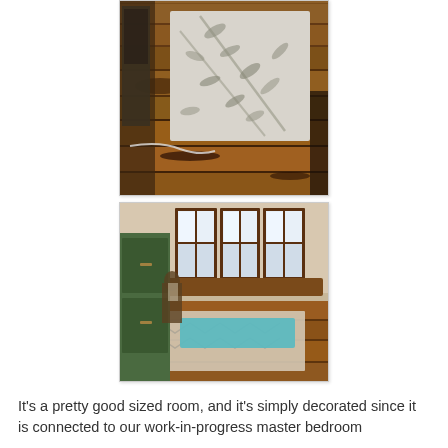[Figure (photo): Interior room with rustic wooden plank floor. A decorative area rug with leaf/branch pattern lies on the floor. A door is visible in the background. Warm brown tones throughout.]
[Figure (photo): Interior room with curved bay window featuring three windows with dark wood trim. A teal/blue yoga mat rests on a decorative rug on hardwood floors. A green dresser or cabinet is visible on the left side.]
It's a pretty good sized room, and it's simply decorated since it is connected to our work-in-progress master bedroom